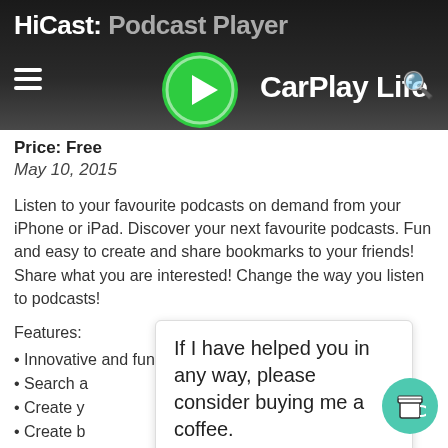HiCast: Podcast Player | CarPlay Life
Price: Free
May 10, 2015
Listen to your favourite podcasts on demand from your iPhone or iPad. Discover your next favourite podcasts. Fun and easy to create and share bookmarks to your friends! Share what you are interested! Change the way you listen to podcasts!
Features:
• Innovative and fun gesture menu
• Search and find podcasts from different categories
• Create your own channels
• Create bookmarks of podcasts
• Share bookmarks
• Create your own playlist
If I have helped you in any way, please consider buying me a coffee.